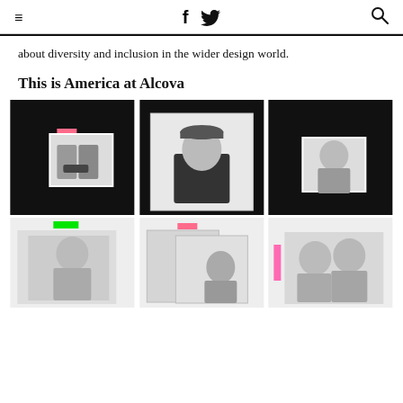≡  f  🐦  🔍
about diversity and inclusion in the wider design world.
This is America at Alcova
[Figure (photo): Grid of six black-and-white portrait photographs, each set against a black background. The photos show various individuals and groups. Some photos have small colored rectangles (pink, green, magenta) as accents. Top row: two people holding sunglasses, a person in a cap, a woman in a striped top. Bottom row: a woman posing, two overlapping pages/photos with a person, two men together.]